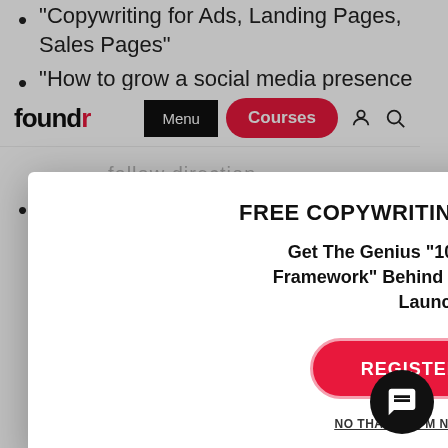"Copywriting for Ads, Landing Pages, Sales Pages"
"How to grow a social media presence and follow direction..."
[Figure (screenshot): Foundr website navigation bar with logo, Menu button, Courses button, user icon and search icon]
"Something about funnels and conversions... marketing. All formats."
[Figure (screenshot): Modal popup: FREE COPYWRITING MASTERCLASS! Get The Genius "10-Step Copywriting Framework" Behind 11 Different 7-Figure Launches... with REGISTER NOW button and NO THANKS, I'M NOT INTERESTED link]